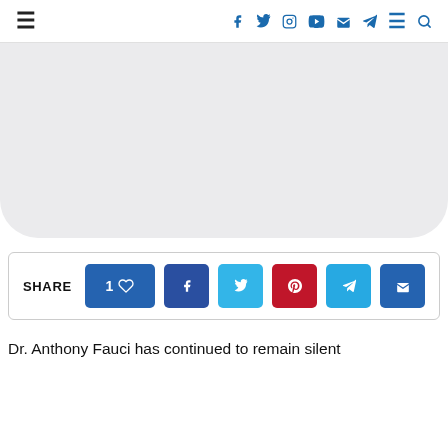Navigation bar with hamburger menu, social icons (facebook, twitter, instagram, youtube, email, telegram), menu, search
[Figure (photo): Large gray placeholder image area with rounded bottom corners]
SHARE  1♥  f  twitter  pinterest  telegram  email
Dr. Anthony Fauci has continued to remain silent